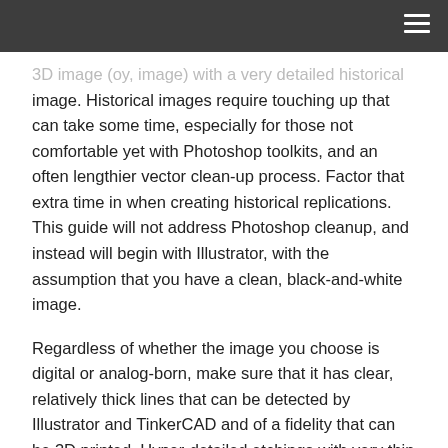3D image (oy, image) with a very detailed historical image. Historical images require touching up that can take some time, especially for those not comfortable yet with Photoshop toolkits, and an often lengthier vector clean-up process. Factor that extra time in when creating historical replications. This guide will not address Photoshop cleanup, and instead will begin with Illustrator, with the assumption that you have a clean, black-and-white image.
Regardless of whether the image you choose is digital or analog-born, make sure that it has clear, relatively thick lines that can be detected by Illustrator and TinkerCAD and of a fidelity that can be 3D printed. Hyper-detailed etchings with very thin lines WILL NOT 3D print properly.
Refer to the video below, and/or read through the following